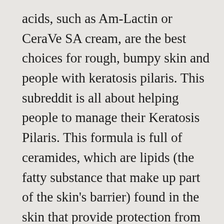acids, such as Am-Lactin or CeraVe SA cream, are the best choices for rough, bumpy skin and people with keratosis pilaris. This subreddit is all about helping people to manage their Keratosis Pilaris. This formula is full of ceramides, which are lipids (the fatty substance that make up part of the skin's barrier) found in the skin that provide protection from things like pollution. Again, use day and night to see the effects. 27 years experience Internal Medicine. Please call for an appointment. Some people notice diminished appearance of red bumps and smoother skin texture after a week of daily application. Trust me. Keep it well moisturized. My therapist tried a mixture of all